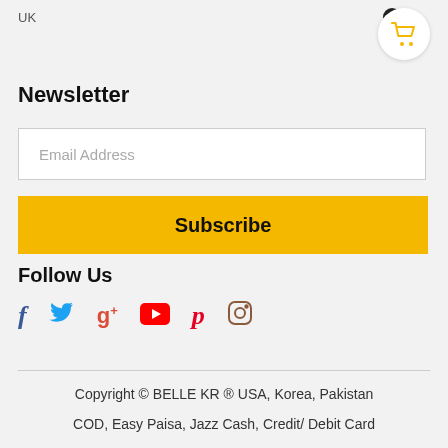UK
Newsletter
Email Address
Subscribe
Follow Us
[Figure (infographic): Social media icons: Facebook, Twitter, Google+, YouTube, Pinterest, Instagram]
Copyright © BELLE KR ® USA, Korea, Pakistan
COD, Easy Paisa, Jazz Cash, Credit/ Debit Card